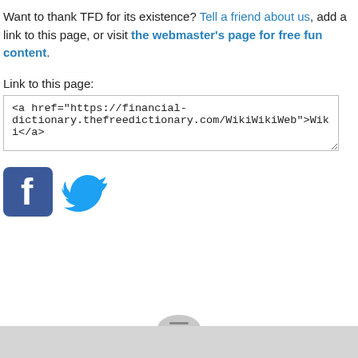Want to thank TFD for its existence? Tell a friend about us, add a link to this page, or visit the webmaster's page for free fun content.
Link to this page:
<a href="https://financial-dictionary.thefreedictionary.com/WikiWikiWeb">Wiki</a>
[Figure (logo): Facebook and Twitter social media icons]